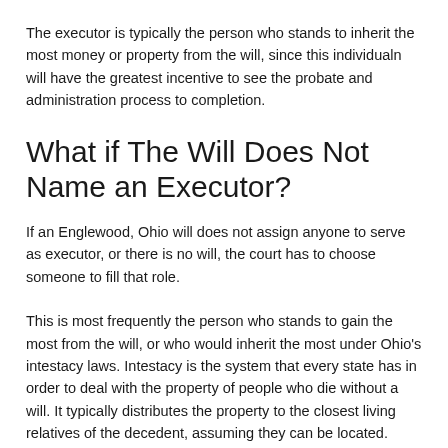The executor is typically the person who stands to inherit the most money or property from the will, since this individualn will have the greatest incentive to see the probate and administration process to completion.
What if The Will Does Not Name an Executor?
If an Englewood, Ohio will does not assign anyone to serve as executor, or there is no will, the court has to choose someone to fill that role.
This is most frequently the person who stands to gain the most from the will, or who would inherit the most under Ohio's intestacy laws. Intestacy is the system that every state has in order to deal with the property of people who die without a will. It typically distributes the property to the closest living relatives of the decedent, assuming they can be located.